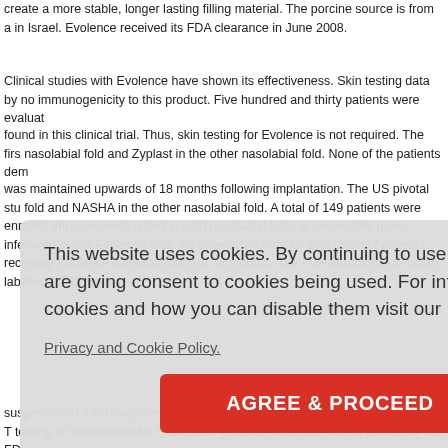create a more stable, longer lasting filling material. The porcine source is from a in Israel. Evolence received its FDA clearance in June 2008.
Clinical studies with Evolence have shown its effectiveness. Skin testing data by no immunogenicity to this product. Five hundred and thirty patients were evaluat found in this clinical trial. Thus, skin testing for Evolence is not required. The firs nasolabial fold and Zyplast in the other nasolabial fold. None of the patients dem was maintained upwards of 18 months following implantation. The US pivotal stu fold and NASHA in the other nasolabial fold. A total of 149 patients were enrolled improvements noted in both nasolabial folds at six months (non-inferiority study) Evolence side. An extension study for evaluation of patients receiving Evolence i improvement in 18 months. The FDA approved 18-month labeling for Evolence d skin, with superficial rtly.This im sing, Evole ding of the e treatment onths. In fa ure 6].
suspended in a carboxy-methylcellulose resorbable aqueous gel carrier (70%). T testing is not required for Radiesse injections. Radiesse was approved by the FD hydroxyla
This website uses cookies. By continuing to use this website you are giving consent to cookies being used. For information on cookies and how you can disable them visit our Privacy and Cookie Policy. AGREE & PROCEED